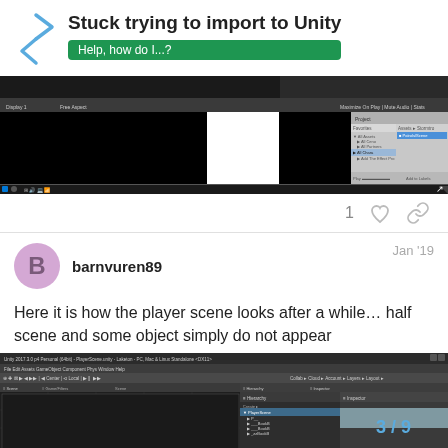Stuck trying to import to Unity
[Figure (screenshot): Unity editor screenshot showing the scene view with black areas and an asset browser panel on the right.]
1 [heart] [link]
barnvuren89   Jan '19
Here it is how the player scene looks after a while… half scene and some object simply do not appear
[Figure (screenshot): Unity 2017 editor screenshot showing the player scene with missing objects and a hierarchy/inspector panel.]